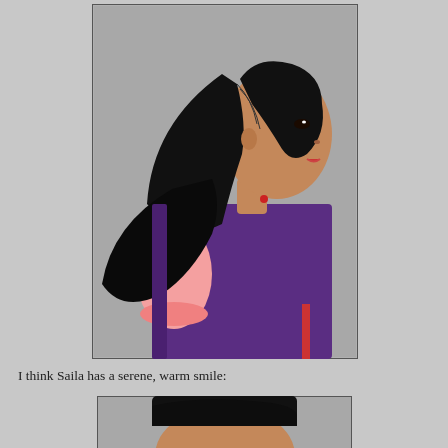[Figure (photo): Side profile view of a doll with long black hair in a ponytail, wearing a purple vest over a pink short-sleeved shirt. The doll has Asian features and a small red accent on the vest collar.]
I think Saila has a serene, warm smile:
[Figure (photo): Partial top-down view of the same doll's head showing black hair, beginning of a second photo at the bottom of the page.]